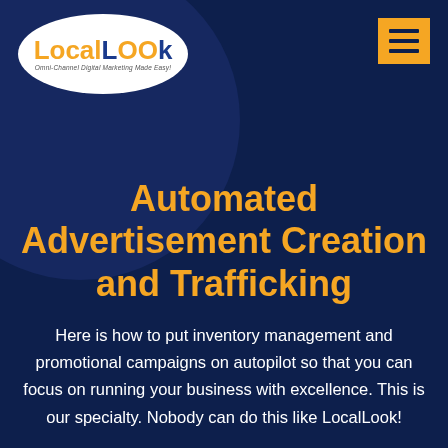[Figure (logo): LocalLook logo — oval shape with 'Local' in orange and 'LOOK' in dark blue bold text, with tagline 'Omni-Channel Digital Marketing Made Easy!' below in small italic text]
[Figure (other): Yellow hamburger menu button (three horizontal dark blue lines on yellow/gold background) in top right corner]
Automated Advertisement Creation and Trafficking
Here is how to put inventory management and promotional campaigns on autopilot so that you can focus on running your business with excellence. This is our specialty. Nobody can do this like LocalLook!